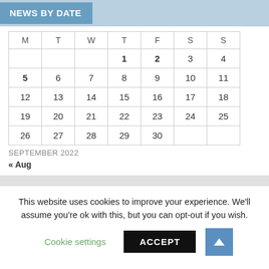NEWS BY DATE
| M | T | W | T | F | S | S |
| --- | --- | --- | --- | --- | --- | --- |
|  |  |  | 1 | 2 | 3 | 4 |
| 5 | 6 | 7 | 8 | 9 | 10 | 11 |
| 12 | 13 | 14 | 15 | 16 | 17 | 18 |
| 19 | 20 | 21 | 22 | 23 | 24 | 25 |
| 26 | 27 | 28 | 29 | 30 |  |  |
SEPTEMBER 2022
« Aug
This website uses cookies to improve your experience. We'll assume you're ok with this, but you can opt-out if you wish.
Cookie settings   ACCEPT